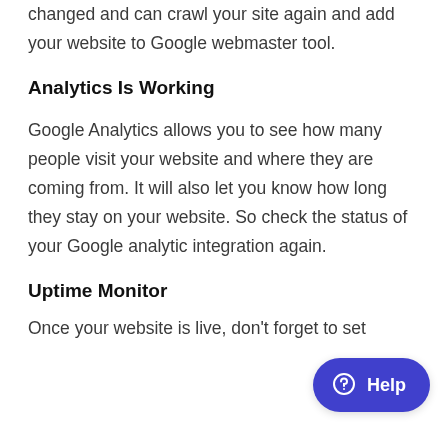changed and can crawl your site again and add your website to Google webmaster tool.
Analytics Is Working
Google Analytics allows you to see how many people visit your website and where they are coming from. It will also let you know how long they stay on your website. So check the status of your Google analytic integration again.
Uptime Monitor
Once your website is live, don't forget to set